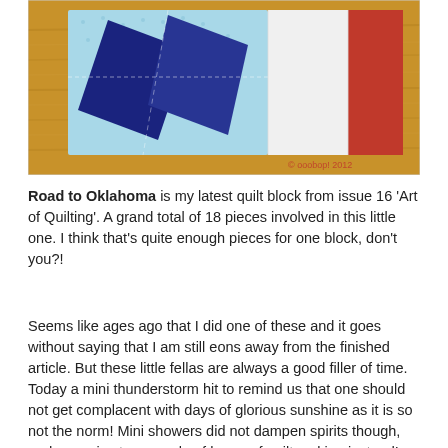[Figure (photo): A photograph of a Road to Oklahoma quilt block laid on a wooden surface. The block features dark navy blue diamond/parallelogram shapes on a light blue dotted background, with white and red sections. A watermark reads '© ooobop! 2012' in red at the bottom right.]
Road to Oklahoma is my latest quilt block from issue 16 'Art of Quilting'. A grand total of 18 pieces involved in this little one. I think that's quite enough pieces for one block, don't you?!
Seems like ages ago that I did one of these and it goes without saying that I am still eons away from the finished article. But these little fellas are always a good filler of time. Today a mini thunderstorm hit to remind us that one should not get complacent with days of glorious sunshine as it is so not the norm! Mini showers did not dampen spirits though, and gave rise to a couple of hours of quilt making instead!